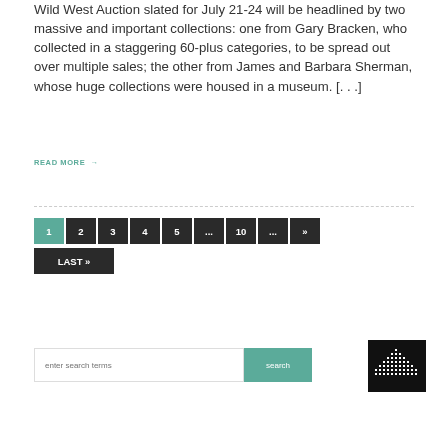Wild West Auction slated for July 21-24 will be headlined by two massive and important collections: one from Gary Bracken, who collected in a staggering 60-plus categories, to be spread out over multiple sales; the other from James and Barbara Sherman, whose huge collections were housed in a museum. [...]
READ MORE →
1 2 3 4 5 ... 10 ... » LAST »
enter search terms | search